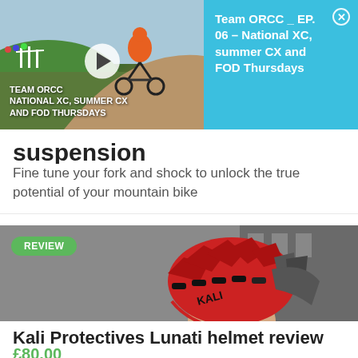[Figure (screenshot): Video thumbnail showing mountain bike rider on dirt track with play button overlay. Text overlay reads: TEAM ORCC NATIONAL XC, SUMMER CX AND FOD THURSDAYS]
Team ORCC _ EP. 06 – National XC, summer CX and FOD Thursdays
suspension
Fine tune your fork and shock to unlock the true potential of your mountain bike
[Figure (photo): Close-up photo of a person wearing a red and grey Kali Protectives Lunati mountain bike helmet. Green 'REVIEW' badge overlaid on top-left.]
Kali Protectives Lunati helmet review
£80.00
Good all-rounder off-road helmet packed with